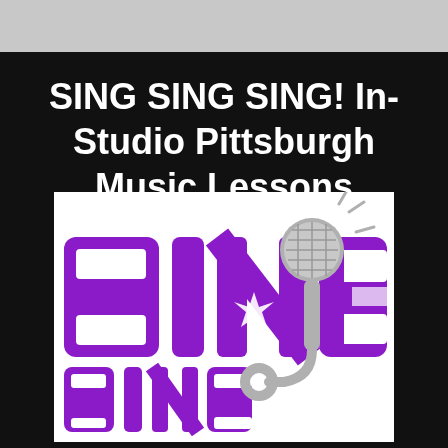SING SING SING! In-Studio Pittsburgh Music Lessons
[Figure (logo): SING SING SING logo with large purple stylized text 'SING' stacked, with a gray microphone graphic overlapping the letters on a white background.]